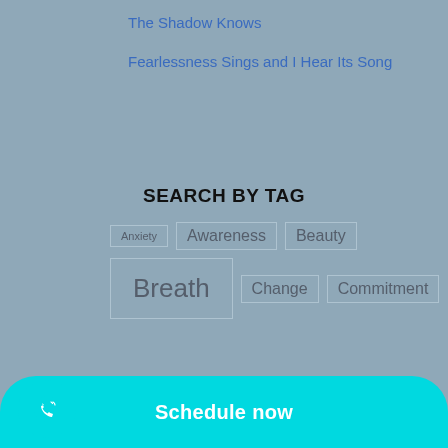The Shadow Knows
Fearlessness Sings and I Hear Its Song
SEARCH BY TAG
Anxiety
Awareness
Beauty
Breath
Change
Commitment
Compassion
Connection
Schedule now